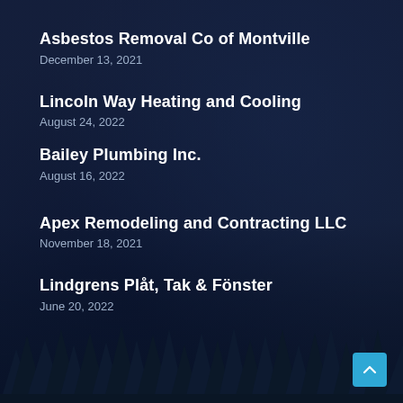Asbestos Removal Co of Montville
December 13, 2021
Lincoln Way Heating and Cooling
August 24, 2022
Bailey Plumbing Inc.
August 16, 2022
Apex Remodeling and Contracting LLC
November 18, 2021
Lindgrens Plåt, Tak & Fönster
June 20, 2022